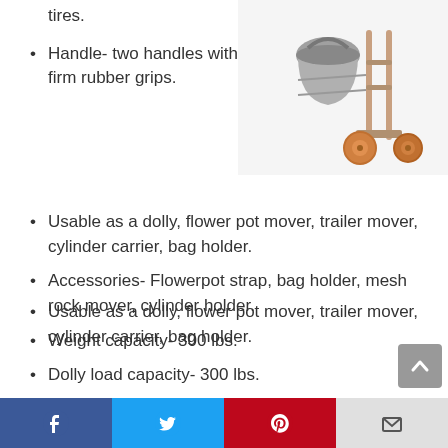tires.
[Figure (photo): Product photo of a hand truck/dolly with wheels and a bucket attached, shown at an angle]
Handle- two handles with firm rubber grips.
Usable as a dolly, flower pot mover, trailer mover, cylinder carrier, bag holder.
Accessories- Flowerpot strap, bag holder, mesh rock mover, cylinder holder.
Weight capacity- 300 lbs.
Dolly load capacity- 300 lbs.
Product dimension- 42 x 12 x 18 inches.
Weight- 42 lbs.
Facebook | Twitter | Pinterest | Email